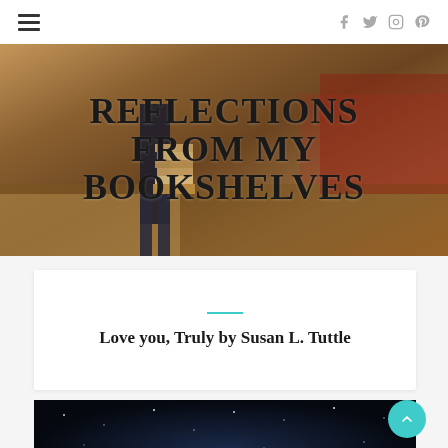Navigation and social icons: hamburger menu, Facebook, Twitter, Instagram, Pinterest
[Figure (photo): Person standing next to a tall stack of books in an autumn field, with red foliage in background. Overlay text reads REFLECTIONS FROM MY BOOKSHELVES.]
REFLECTIONS FROM MY BOOKSHELVES
Love you, Truly by Susan L. Tuttle
[Figure (photo): Dark starry night sky background image at the bottom of the page.]